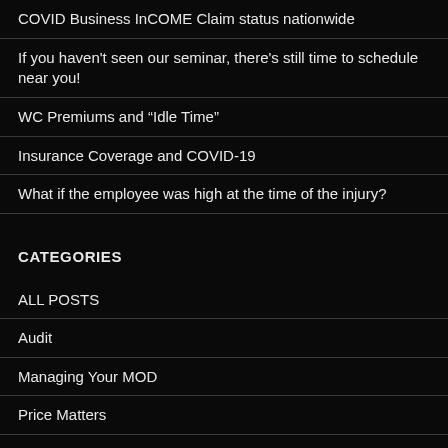COVID Business InCOME Claim status nationwide
If you haven’t seen our seminar, there’s still time to schedule near you!
WC Premiums and “Idle Time”
Insurance Coverage and COVID-19
What if the employee was high at the time of the injury?
CATEGORIES
ALL POSTS
Audit
Managing Your MOD
Price Matters
Reading your MOD Worksheet